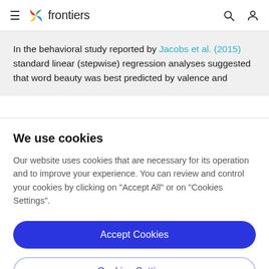frontiers
In the behavioral study reported by Jacobs et al. (2015) standard linear (stepwise) regression analyses suggested that word beauty was best predicted by valence and
We use cookies
Our website uses cookies that are necessary for its operation and to improve your experience. You can review and control your cookies by clicking on "Accept All" or on "Cookies Settings".
Accept Cookies
Cookies Settings